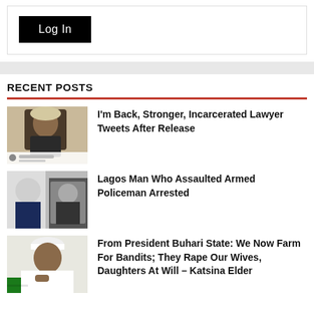[Figure (screenshot): Log In button — black rectangular button with white 'Log In' text on a white card with border]
RECENT POSTS
[Figure (photo): Photo of a Black man in lawyer's wig and gown, with a Twitter post screenshot below]
I'm Back, Stronger, Incarcerated Lawyer Tweets After Release
[Figure (photo): Photo of a man in traditional Nigerian attire, face blurred, with another person in background]
Lagos Man Who Assaulted Armed Policeman Arrested
[Figure (photo): Photo of President Buhari in white traditional attire and cap, looking down]
From President Buhari State: We Now Farm For Bandits; They Rape Our Wives, Daughters At Will – Katsina Elder